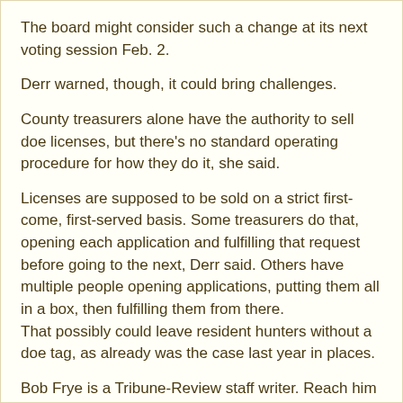The board might consider such a change at its next voting session Feb. 2.
Derr warned, though, it could bring challenges.
County treasurers alone have the authority to sell doe licenses, but there's no standard operating procedure for how they do it, she said.
Licenses are supposed to be sold on a strict first-come, first-served basis. Some treasurers do that, opening each application and fulfilling that request before going to the next, Derr said. Others have multiple people opening applications, putting them all in a box, then fulfilling them from there.
That possibly could leave resident hunters without a doe tag, as already was the case last year in places.
Bob Frye is a Tribune-Review staff writer. Reach him at bfrye@tribweb.com or @bobfryeoutdoors.